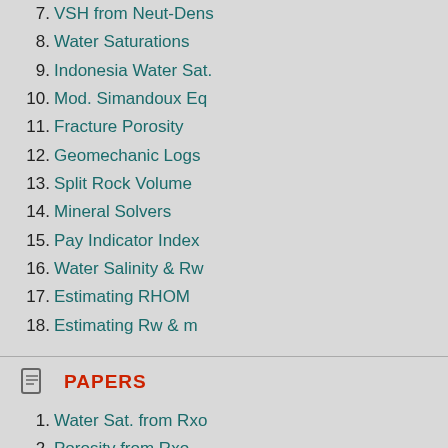7. VSH from Neut-Dens
8. Water Saturations
9. Indonesia Water Sat.
10. Mod. Simandoux Eq
11. Fracture Porosity
12. Geomechanic Logs
13. Split Rock Volume
14. Mineral Solvers
15. Pay Indicator Index
16. Water Salinity & Rw
17. Estimating RHOM
18. Estimating Rw & m
PAPERS
1. Water Sat. from Rxo
2. Porosity from Rxo
3. Vshale or Vclay ?
4. Gas cap detection